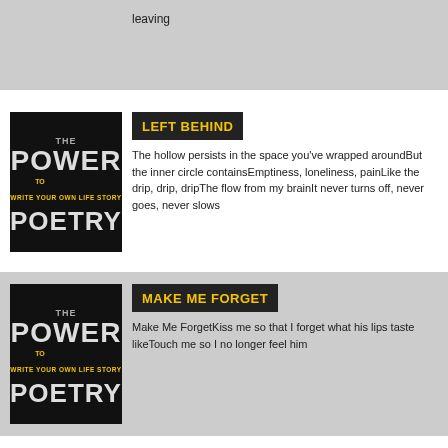leaving
[Figure (illustration): Power of Poetry book cover thumbnail - black background with stylized text]
LEFT BEHIND
The hollow persists in the space you've wrapped aroundBut the inner circle containsEmptiness, loneliness, painLike the drip, drip, dripThe flow from my brainIt never turns off, never goes, never slows
[Figure (illustration): Power of Poetry book cover thumbnail - black background with stylized text]
MAKE ME FORGET
Make Me ForgetKiss me so that I forget what his lips taste likeTouch me so I no longer feel him